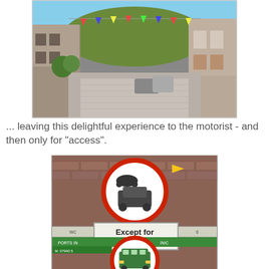[Figure (photo): A cobblestone village street lined with stone buildings, bunting flags strung across, cars parked on the side, blue sky.]
... leaving this delightful experience to the motorist - and then only for "access".
[Figure (photo): UK road signs on a brick wall: a round red-bordered sign with motorcycle and car icons (no motor vehicles), a rectangular sign reading 'Except for access', and a round red-bordered sign with a bus icon.]